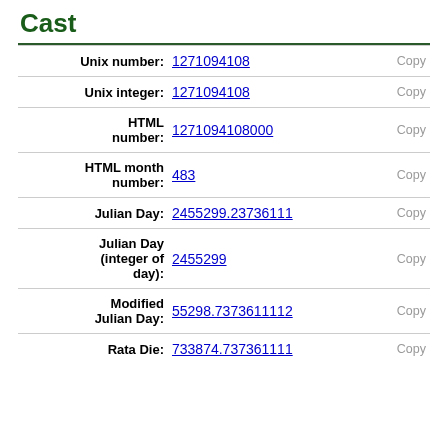Cast
| Label | Value | Action |
| --- | --- | --- |
| Unix number: | 1271094108 | Copy |
| Unix integer: | 1271094108 | Copy |
| HTML number: | 1271094108000 | Copy |
| HTML month number: | 483 | Copy |
| Julian Day: | 2455299.23736111 | Copy |
| Julian Day (integer of day): | 2455299 | Copy |
| Modified Julian Day: | 55298.7373611112 | Copy |
| Rata Die: | 733874.737361111 | Copy |